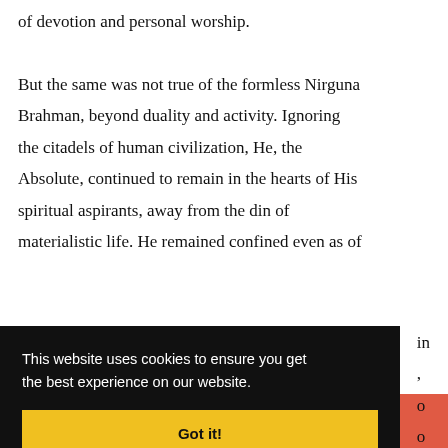of devotion and personal worship. But the same was not true of the formless Nirguna Brahman, beyond duality and activity. Ignoring the citadels of human civilization, He, the Absolute, continued to remain in the hearts of His spiritual aspirants, away from the din of materialistic life. He remained confined even as of in o o
This website uses cookies to ensure you get the best experience on our website.
Got it!